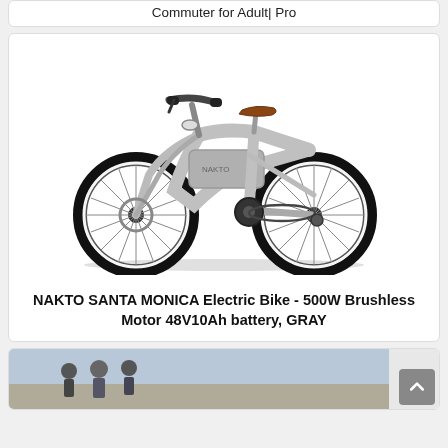Commuter for Adult| Pro
[Figure (photo): Silver NAKTO Santa Monica electric cruiser bike with fat tires, brown leather seat, front suspension fork, and integrated battery in the downtube, shown on white background]
NAKTO SANTA MONICA Electric Bike - 500W Brushless Motor 48V10Ah battery, GRAY
[Figure (photo): Partial view of people outdoors, likely riding or near bikes, with a scroll-to-top button visible in lower right corner]